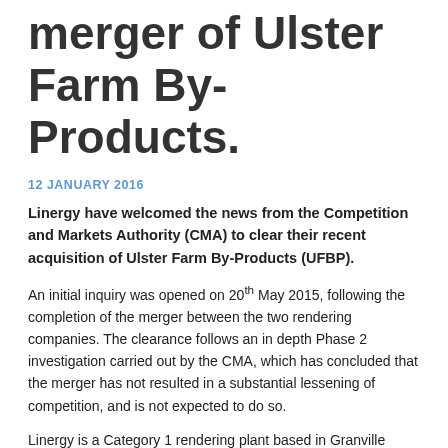merger of Ulster Farm By-Products.
12 JANUARY 2016
Linergy have welcomed the news from the Competition and Markets Authority (CMA) to clear their recent acquisition of Ulster Farm By-Products (UFBP).
An initial inquiry was opened on 20th May 2015, following the completion of the merger between the two rendering companies. The clearance follows an in depth Phase 2 investigation carried out by the CMA, which has concluded that the merger has not resulted in a substantial lessening of competition, and is not expected to do so.
Linergy is a Category 1 rendering plant based in Granville Industrial Estate Dungannon. It processes animal by-products from animal slaughtering processes, as well as fallen stock